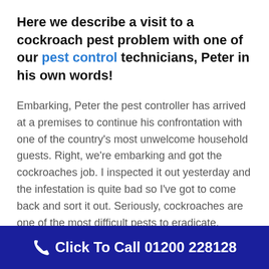Here we describe a visit to a cockroach pest problem with one of our pest control technicians, Peter in his own words!
Embarking, Peter the pest controller has arrived at a premises to continue his confrontation with one of the country's most unwelcome household guests. Right, we're embarking and got the cockroaches job. I inspected it out yesterday and the infestation is quite bad so I've got to come back and sort it out. Seriously, cockroaches are one of the most difficult pests to eradicate. Legend has it, that they are the only creatures that could survive a nuclear holocaust! They also spread diseases like dysentery
Click To Call 01200 228128